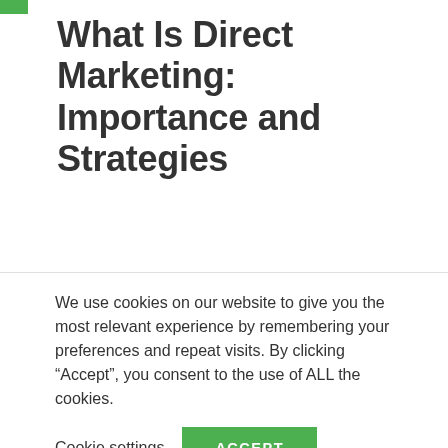What Is Direct Marketing: Importance and Strategies
Direct marketing is a marketing system that relies directly on distribution or communication to consumers rather than through a third-party medium such as mass media. Social media, email, and text campaigns
We use cookies on our website to give you the most relevant experience by remembering your preferences and repeat visits. By clicking “Accept”, you consent to the use of ALL the cookies.
Cookie settings  ACCEPT